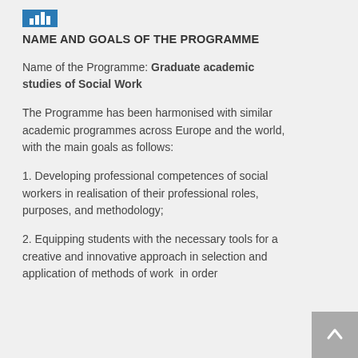[Figure (other): Blue icon bar with bar chart/building icon]
NAME AND GOALS OF THE PROGRAMME
Name of the Programme: Graduate academic studies of Social Work
The Programme has been harmonised with similar academic programmes across Europe and the world, with the main goals as follows:
1. Developing professional competences of social workers in realisation of their professional roles, purposes, and methodology;
2. Equipping students with the necessary tools for a creative and innovative approach in selection and application of methods of work  in order